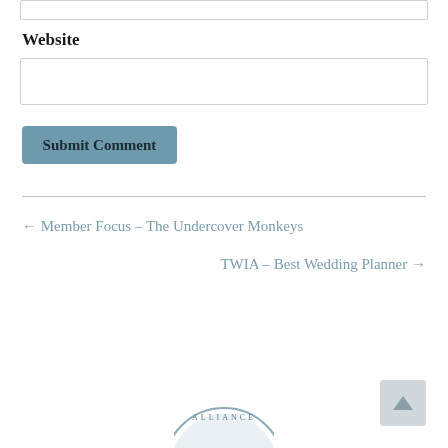Website
Submit Comment
← Member Focus – The Undercover Monkeys
TWIA – Best Wedding Planner →
[Figure (logo): Alliance badge/seal partially visible at bottom center]